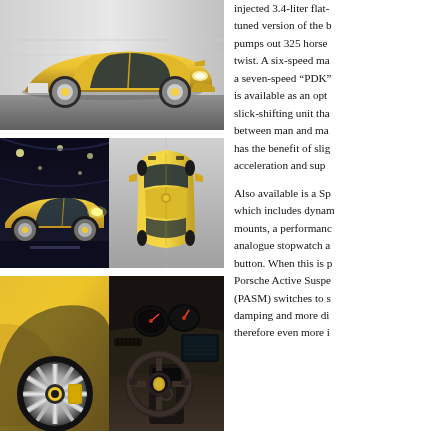[Figure (photo): Yellow Porsche Cayman S driving on road, front three-quarter view]
[Figure (photo): Two smaller photos: left shows yellow Porsche Cayman S at night/tunnel, right shows aerial top-down view of yellow Porsche Cayman S]
[Figure (photo): Two smaller photos: left shows close-up of yellow Porsche wheel/rear quarter, right shows interior cockpit with steering wheel and dashboard]
injected 3.4-liter flat-tuned version of the b pumps out 325 horse twist. A six-speed ma a seven-speed “PDK” is available as an opt slick-shifting unit tha between man and ma has the benefit of slig acceleration and sup
Also available is a Sp which includes dynam mounts, a performanc analogue stopwatch a button. When this is p Porsche Active Suspe (PASM) switches to s damping and more di therefore even more i